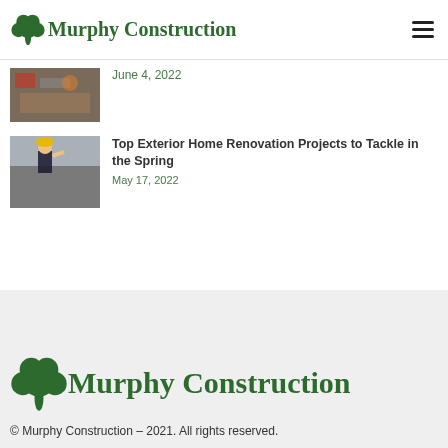Murphy Construction
June 4, 2022
Top Exterior Home Renovation Projects to Tackle in the Spring
May 17, 2022
Murphy Construction
© Murphy Construction – 2021. All rights reserved.